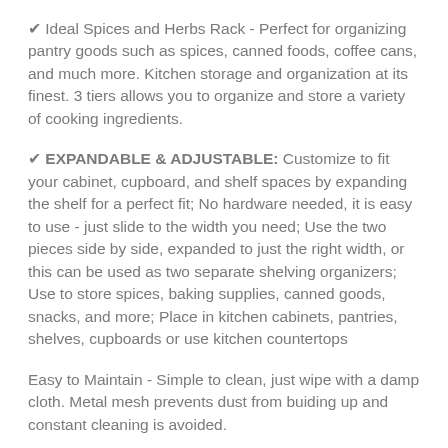✔ Ideal Spices and Herbs Rack - Perfect for organizing pantry goods such as spices, canned foods, coffee cans, and much more. Kitchen storage and organization at its finest. 3 tiers allows you to organize and store a variety of cooking ingredients.
✔ EXPANDABLE & ADJUSTABLE: Customize to fit your cabinet, cupboard, and shelf spaces by expanding the shelf for a perfect fit; No hardware needed, it is easy to use - just slide to the width you need; Use the two pieces side by side, expanded to just the right width, or this can be used as two separate shelving organizers; Use to store spices, baking supplies, canned goods, snacks, and more; Place in kitchen cabinets, pantries, shelves, cupboards or use kitchen countertops
Easy to Maintain - Simple to clean, just wipe with a damp cloth. Metal mesh prevents dust from buiding up and constant cleaning is avoided.